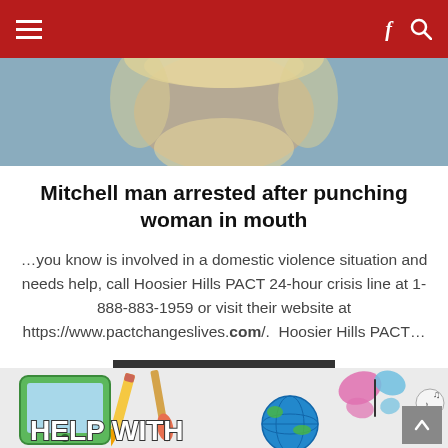Navigation bar with menu, Facebook, and search icons
[Figure (photo): Close-up photograph of an elderly man's face with white/blonde hair and beard against a blue background]
Mitchell man arrested after punching woman in mouth
…you know is involved in a domestic violence situation and needs help, call Hoosier Hills PACT 24-hour crisis line at 1-888-883-1959 or visit their website at https://www.pactchangeslives.com/.  Hoosier Hills PACT…
CONTINUE READING...
[Figure (illustration): Colorful illustration with text 'HELP WITH' and images of a tablet, pencil, paintbrush, globe, butterfly, and cartoon character with musical notes]